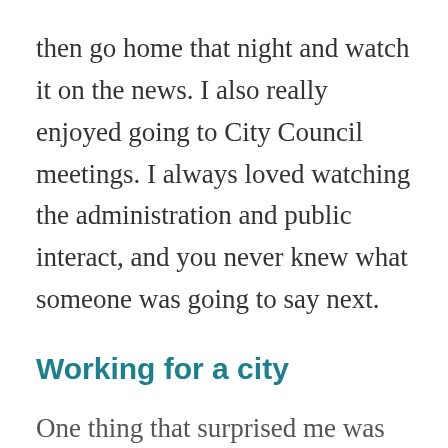then go home that night and watch it on the news. I also really enjoyed going to City Council meetings. I always loved watching the administration and public interact, and you never knew what someone was going to say next.
Working for a city
One thing that surprised me was how much everyone at the City of Huntsville